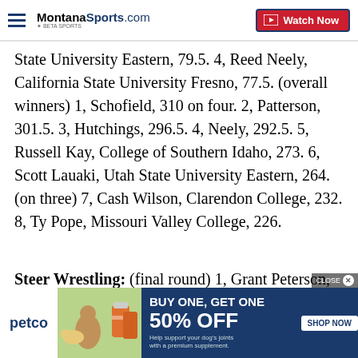MontanaSports.com | Watch Now
State University Eastern, 79.5. 4, Reed Neely, California State University Fresno, 77.5. (overall winners) 1, Schofield, 310 on four. 2, Patterson, 301.5. 3, Hutchings, 296.5. 4, Neely, 292.5. 5, Russell Kay, College of Southern Idaho, 273. 6, Scott Lauaki, Utah State University Eastern, 264. (on three) 7, Cash Wilson, Clarendon College, 232. 8, Ty Pope, Missouri Valley College, 226.
Steer Wrestling: (final round) 1, Grant Peterson, Cal Poly State University – San Luis Obispo, 4.0 seconds 2, Gavin Soileau, McNeese State University, 4.2 s...
[Figure (infographic): Petco advertisement: BUY ONE, GET ONE 50% OFF on pet supplements. Shows a woman with a golden retriever dog and supplement bottles. Blue background with white text and a SHOP NOW button.]